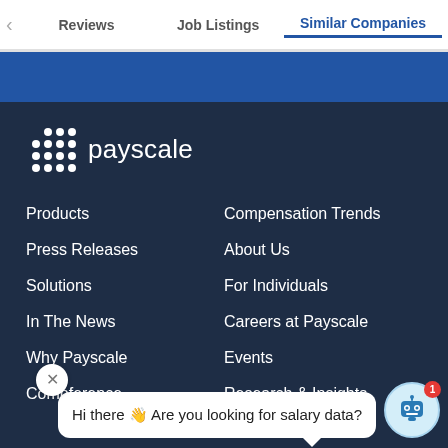Reviews | Job Listings | Similar Companies
[Figure (screenshot): Blue banner background strip]
[Figure (logo): Payscale logo with dot grid icon and white text on dark background]
Products
Compensation Trends
Press Releases
About Us
Solutions
For Individuals
In The News
Careers at Payscale
Why Payscale
Events
Compference
Research & Insights
Hi there 👋 Are you looking for salary data?